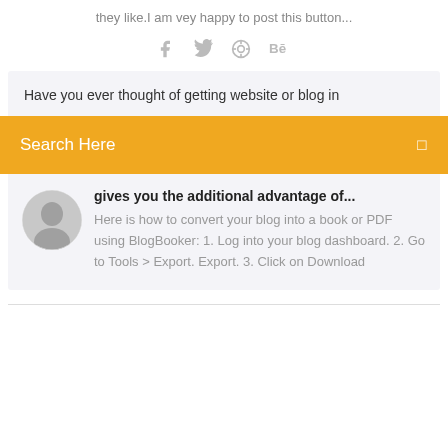they like.I am vey happy to post this button...
[Figure (infographic): Social media share icons: Facebook, Twitter, Dribbble, Behance]
Have you ever thought of getting website or blog in
Search Here
[Figure (photo): Circular avatar photo of a man]
gives you the additional advantage of...
Here is how to convert your blog into a book or PDF using BlogBooker: 1. Log into your blog dashboard. 2. Go to Tools > Export. Export. 3. Click on Download